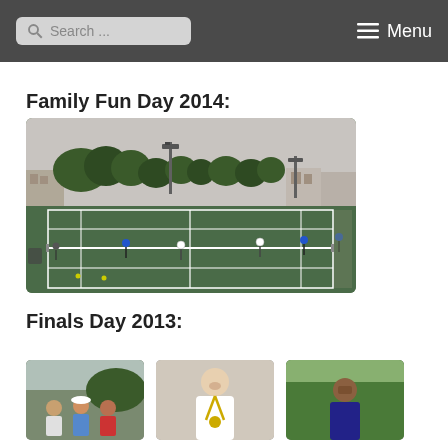Search ... Menu
Family Fun Day 2014:
[Figure (photo): Outdoor tennis courts with players on green hard courts, trees and buildings visible in background, floodlight poles visible, overcast sky]
Finals Day 2013:
[Figure (photo): Thumbnail photo 1 - group of people outdoors]
[Figure (photo): Thumbnail photo 2 - person with medal]
[Figure (photo): Thumbnail photo 3 - person at tennis event]